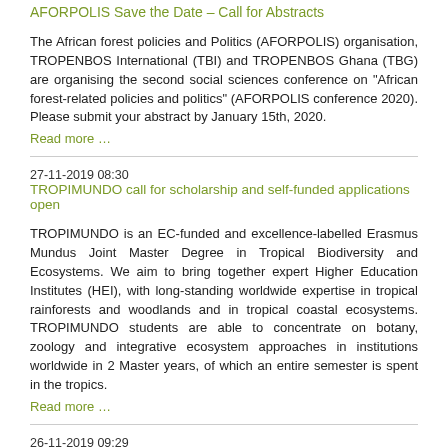AFORPOLIS Save the Date – Call for Abstracts
The African forest policies and Politics (AFORPOLIS) organisation, TROPENBOS International (TBI) and TROPENBOS Ghana (TBG) are organising the second social sciences conference on "African forest-related policies and politics" (AFORPOLIS conference 2020). Please submit your abstract by January 15th, 2020.
Read more …
27-11-2019 08:30
TROPIMUNDO call for scholarship and self-funded applications open
TROPIMUNDO is an EC-funded and excellence-labelled Erasmus Mundus Joint Master Degree in Tropical Biodiversity and Ecosystems. We aim to bring together expert Higher Education Institutes (HEI), with long-standing worldwide expertise in tropical rainforests and woodlands and in tropical coastal ecosystems. TROPIMUNDO students are able to concentrate on botany, zoology and integrative ecosystem approaches in institutions worldwide in 2 Master years, of which an entire semester is spent in the tropics.
Read more …
26-11-2019 09:29
Centre of Social Excellence: Launch of the 2020 session of the Centre of Social Excellence
Applications are now being accepted for the tenth training batch that will begin in Yaoundé in March 2020 and will be taught in French and English.
Read more …
15-11-2019 13:01
WWF Call - New Deal for Nature and People Intern
WWF is looking for a local intern for its New Deal for Nature and People programme in Cameroon! Location: Yaoundé, Cameroon. Please complete